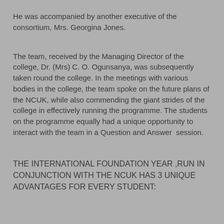He was accompanied by another executive of the consortium, Mrs. Georgina Jones.
The team, received by the Managing Director of the college, Dr. (Mrs) C. O. Ogunsanya, was subsequently taken round the college. In the meetings with various bodies in the college, the team spoke on the future plans of the NCUK, while also commending the giant strides of the college in effectively running the programme. The students on the programme equally had a unique opportunity to interact with the team in a Question and Answer  session.
THE INTERNATIONAL FOUNDATION YEAR ,RUN IN CONJUNCTION WITH THE NCUK HAS 3 UNIQUE ADVANTAGES FOR EVERY STUDENT: